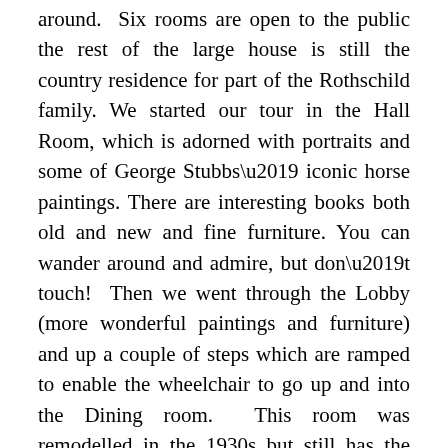around.  Six rooms are open to the public the rest of the large house is still the country residence for part of the Rothschild family. We started our tour in the Hall Room, which is adorned with portraits and some of George Stubbs' iconic horse paintings. There are interesting books both old and new and fine furniture. You can wander around and admire, but don't touch!  Then we went through the Lobby (more wonderful paintings and furniture) and up a couple of steps which are ramped to enable the wheelchair to go up and into the Dining room.  This room was remodelled in the 1930s but still has the antique feel to it. Into the Common Room, and on to the Library which does have some areas roped off, and is full of wonderful old books. You really want to turn some pages but for obvious reasons it also is “no touch”. Finally we went through the Porcelain Room which is full of incredible collections, some